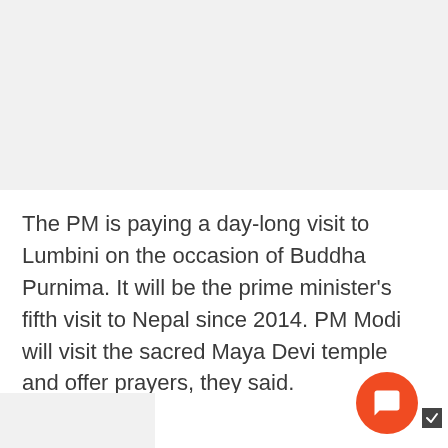The PM is paying a day-long visit to Lumbini on the occasion of Buddha Purnima. It will be the prime minister's fifth visit to Nepal since 2014. PM Modi will visit the sacred Maya Devi temple and offer prayers, they said.
He will also deliver an address at the Buddha Jayanti celebrations organised by the Lumbini Development Trust.